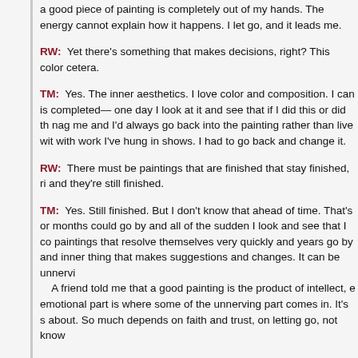a good piece of painting is completely out of my hands. The energy cannot explain how it happens. I let go, and it leads me.
RW: Yet there's something that makes decisions, right? This color cetera.
TM: Yes. The inner aesthetics. I love color and composition. I can is completed— one day I look at it and see that if I did this or did th nag me and I'd always go back into the painting rather than live wit with work I've hung in shows. I had to go back and change it.
RW: There must be paintings that are finished that stay finished, ri and they're still finished.
TM: Yes. Still finished. But I don't know that ahead of time. That's or months could go by and all of the sudden I look and see that I co paintings that resolve themselves very quickly and years go by and inner thing that makes suggestions and changes. It can be unnervi A friend told me that a good painting is the product of intellect, e emotional part is where some of the unnerving part comes in. It's s about. So much depends on faith and trust, on letting go, not know